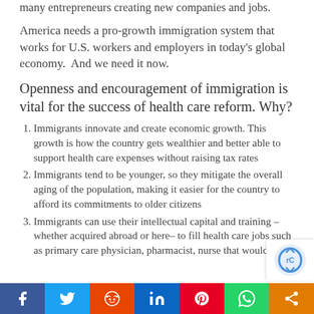many entrepreneurs creating new companies and jobs.
America needs a pro-growth immigration system that works for U.S. workers and employers in today's global economy.  And we need it now.
Openness and encouragement of immigration is vital for the success of health care reform. Why?
Immigrants innovate and create economic growth. This growth is how the country gets wealthier and better able to support health care expenses without raising tax rates
Immigrants tend to be younger, so they mitigate the overall aging of the population, making it easier for the country to afford its commitments to older citizens
Immigrants can use their intellectual capital and training – whether acquired abroad or here– to fill health care jobs such as primary care physician, pharmacist, nurse that would